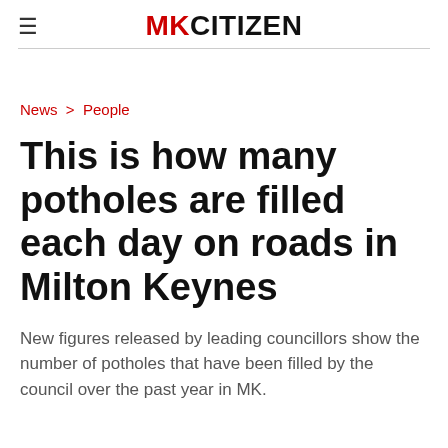MKCITIZEN
News > People
This is how many potholes are filled each day on roads in Milton Keynes
New figures released by leading councillors show the number of potholes that have been filled by the council over the past year in MK.